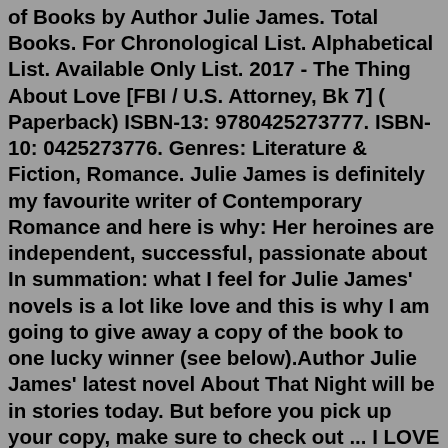of Books by Author Julie James. Total Books. For Chronological List. Alphabetical List. Available Only List. 2017 - The Thing About Love [FBI / U.S. Attorney, Bk 7] ( Paperback) ISBN-13: 9780425273777. ISBN-10: 0425273776. Genres: Literature & Fiction, Romance. Julie James is definitely my favourite writer of Contemporary Romance and here is why: Her heroines are independent, successful, passionate about In summation: what I feel for Julie James' novels is a lot like love and this is why I am going to give away a copy of the book to one lucky winner (see below).Author Julie James' latest novel About That Night will be in stories today. But before you pick up your copy, make sure to check out ... I LOVE Julie James' contemporary romance novels so this is just talking about her past books and then saying I can't wait for 'A ...Praise for the novels of Julie James "Julie James writes books I can't put down."—Nalini Singh, New York Times bestselling author "It's easy to see why [James'] books have such a wide